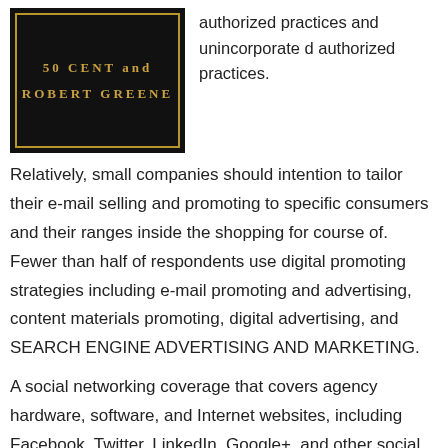[Figure (illustration): Book cover with black background and gold text reading '50 CENT and ROBERT GREENE' with gold border decoration]
authorized practices and unincorporated authorized practices.
Relatively, small companies should intention to tailor their e-mail selling and promoting to specific consumers and their ranges inside the shopping for course of. Fewer than half of respondents use digital promoting strategies including e-mail promoting and advertising, content materials promoting, digital advertising, and SEARCH ENGINE ADVERTISING AND MARKETING.
A social networking coverage that covers agency hardware, software, and Internet websites, including Facebook, Twitter, LinkedIn, Google+, and other social networking websites, and prohibits transmitting